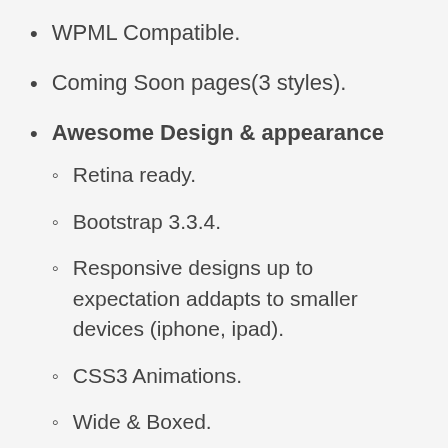WPML Compatible.
Coming Soon pages(3 styles).
Awesome Design & appearance
Retina ready.
Bootstrap 3.3.4.
Responsive designs up to expectation addapts to smaller devices (iphone, ipad).
CSS3 Animations.
Wide & Boxed.
Built including HTML 5 and CSS3.
600 + google fonts.